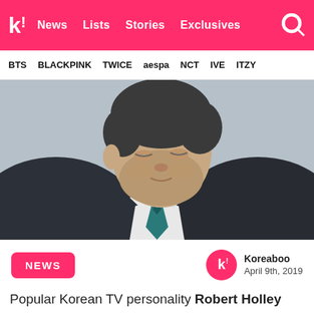k! News Lists Stories Exclusives
BTS BLACKPINK TWICE aespa NCT IVE ITZY
[Figure (photo): Man in a dark suit and teal striped tie, looking downward, photographed from the shoulders up. The background is blurred indoor setting.]
NEWS
Koreaboo
April 9th, 2019
Popular Korean TV personality Robert Holley